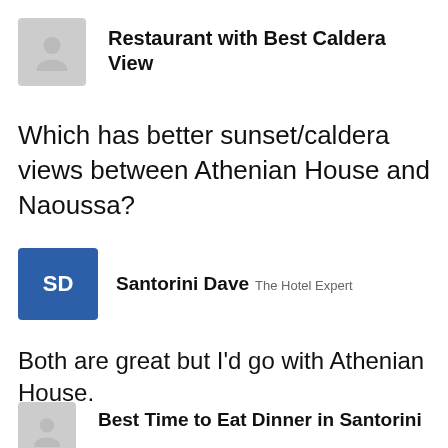Restaurant with Best Caldera View
Which has better sunset/caldera views between Athenian House and Naoussa?
[Figure (photo): Profile photo of Santorini Dave wearing a blue cap with 'SD' text, with glasses]
Santorini Dave  The Hotel Expert
Both are great but I'd go with Athenian House.
Best Time to Eat Dinner in Santorini